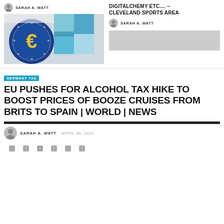SARAH A. WATT
[Figure (photo): Photo showing EU euro symbol coin/emblem with blue and teal geometric background]
DIGITALCHEMY ETC.... – CLEVELAND SPORTS AREA
SARAH A. WATT
[Figure (photo): Gray placeholder image]
GERMANY TAX
EU PUSHES FOR ALCOHOL TAX HIKE TO BOOST PRICES OF BOOZE CRUISES FROM BRITS TO SPAIN | WORLD | NEWS
SARAH A. WATT  APRIL 20, 2022
[Figure (other): Row of social share icons]